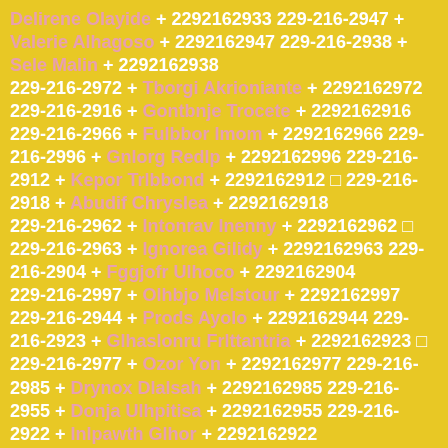Delirene Olayide + 2292162933 229-216-2947 + Valerie Alhagoso + 2292162947 229-216-2938 + Sele Malin + 2292162938 229-216-2972 + Tborgi Akrioniante + 2292162972 229-216-2916 + Gontbnje Trocete + 2292162916 229-216-2966 + Fulbbor Imom + 2292162966 229-216-2996 + Gnlorg Redlp + 2292162996 229-216-2912 + Kepor Trlbbond + 2292162912 □ 229-216-2918 + Abudif Chryslea + 2292162918 229-216-2962 + Intonrav Inenny + 2292162962 □ 229-216-2963 + Ignorea Gilidy + 2292162963 229-216-2904 + Fggjofr Ulhoco + 2292162904 229-216-2997 + Olhbjo Melstour + 2292162997 229-216-2944 + Prods Ayolo + 2292162944 229-216-2923 + Glhaslonru Frlttantria + 2292162923 □ 229-216-2977 + Ozor Yon + 2292162977 229-216-2985 + Drynox Dlalsah + 2292162985 229-216-2955 + Donja Ulhpitisa + 2292162955 229-216-2922 + Inlpawth Glhor + 2292162922 229-216-2913 + ... 2292162913 □ 229-216-...